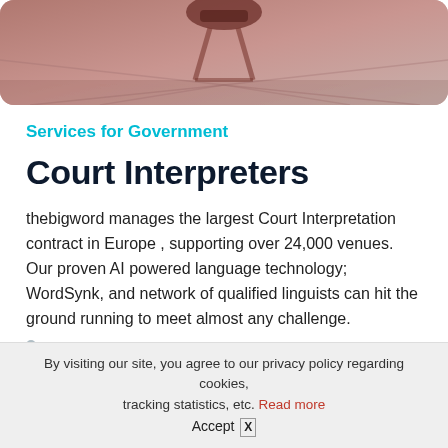[Figure (photo): Cropped photo of a conference room or government setting with reddish-brown tones]
Services for Government
Court Interpreters
thebigword manages the largest Court Interpretation contract in Europe , supporting over 24,000 venues. Our proven AI powered language technology; WordSynk, and network of qualified linguists can hit the ground running to meet almost any challenge.
By visiting our site, you agree to our privacy policy regarding cookies, tracking statistics, etc. Read more
Accept X